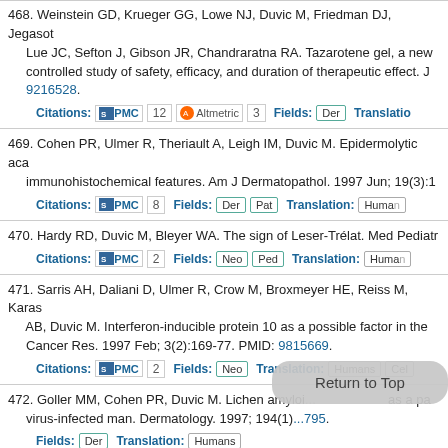468. Weinstein GD, Krueger GG, Lowe NJ, Duvic M, Friedman DJ, Jegasoth... Lue JC, Sefton J, Gibson JR, Chandraratna RA. Tazarotene gel, a new... controlled study of safety, efficacy, and duration of therapeutic effect. J... 9216528.
Citations: PMC 12 Altmetric 3 Fields: Der Translation:
469. Cohen PR, Ulmer R, Theriault A, Leigh IM, Duvic M. Epidermolytic aca... immunohistochemical features. Am J Dermatopathol. 1997 Jun; 19(3):1...
Citations: PMC 8 Fields: Der Pat Translation: Huma...
470. Hardy RD, Duvic M, Bleyer WA. The sign of Leser-Trélat. Med Pediatr...
Citations: PMC 2 Fields: Neo Ped Translation: Huma...
471. Sarris AH, Daliani D, Ulmer R, Crow M, Broxmeyer HE, Reiss M, Kara... AB, Duvic M. Interferon-inducible protein 10 as a possible factor in the... Cancer Res. 1997 Feb; 3(2):169-77. PMID: 9815669.
Citations: PMC 2 Fields: Neo Translation: Humans Cel...
472. Goller MM, Cohen PR, Duvic M. Lichen amyloi... as a pa... virus-infected man. Dermatology. 1997; 194(1)...795.
Fields: Der Translation: Humans